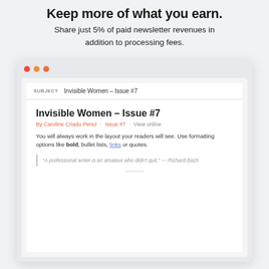Keep more of what you earn.
Share just 5% of paid newsletter revenues in addition to processing fees.
[Figure (screenshot): Browser window mockup showing an email newsletter editor with subject 'Invisible Women – Issue #7', containing a newsletter titled 'Invisible Women – Issue #7' by Caroline Criado Perez, with body text about formatting options including bold, bullet lists, links or quotes, and a blockquote from Richard Bach.]